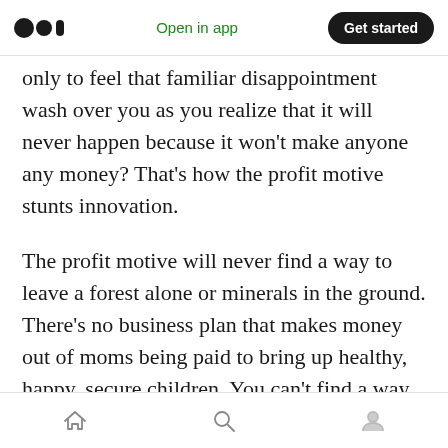Open in app | Get started
only to feel that familiar disappointment wash over you as you realize that it will never happen because it won't make anyone any money? That's how the profit motive stunts innovation.
The profit motive will never find a way to leave a forest alone or minerals in the ground. There's no business plan that makes money out of moms being paid to bring up healthy, happy, secure children. You can't find a way to make money out of people driving less or buying less. There is no money in curing an illness, only treating it. There is no money in solving poverty, only in setting up
Home | Search | Profile